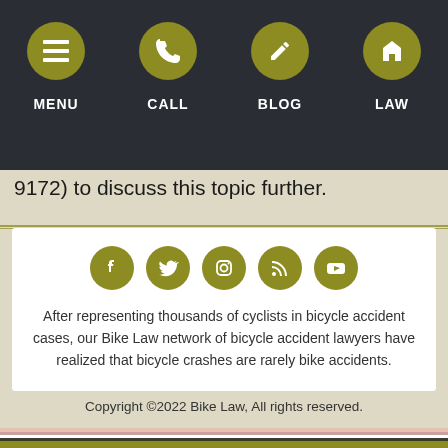MENU | CALL | BLOG | LAW
9172) to discuss this topic further.
[Figure (other): Social media icons row: Facebook, Twitter, Instagram, RSS, YouTube]
After representing thousands of cyclists in bicycle accident cases, our Bike Law network of bicycle accident lawyers have realized that bicycle crashes are rarely bike accidents.
Copyright ©2022 Bike Law, All rights reserved.